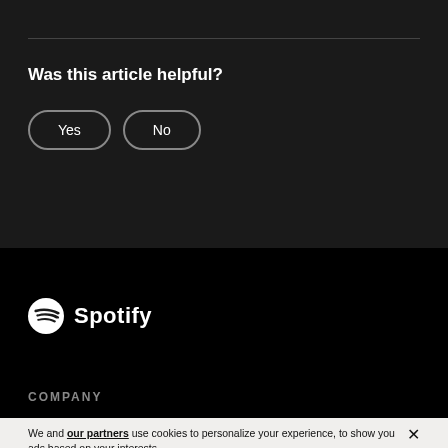Was this article helpful?
Yes | No
[Figure (logo): Spotify logo with circular icon and wordmark]
COMPANY
We and our partners use cookies to personalize your experience, to show you ads based on your interests, and for measurement and analytics purposes. By using